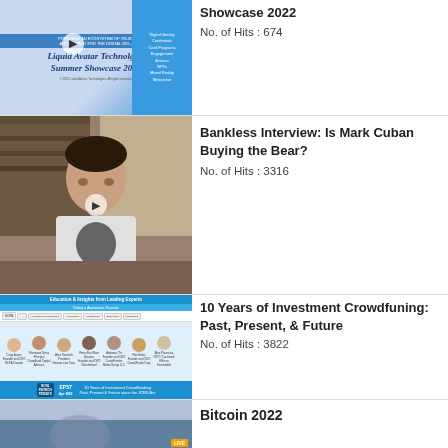[Figure (screenshot): Liquid Avatar Technologies Summer Showcase 2022 thumbnail with blue branding panel listing Digital Identity, Credentials, Card Programs, Engagement, Avatars, NFTs, Mixed Reality, Metaverse]
Showcase 2022
No. of Hits : 674
[Figure (photo): Man in Mickey Mouse t-shirt sitting at a desk in an office with bookshelves, play button overlay]
Bankless Interview: Is Mark Cuban Buying the Bear?
No. of Hits : 3316
[Figure (screenshot): NCFA Fintech Fridays EP57 Apr 8/22 thumbnail: 10 Years of Investment Crowdfunding Past, Present & Future since the JOBS Act, with guest panels]
10 Years of Investment Crowdfuning: Past, Present, & Future
No. of Hits : 3822
[Figure (screenshot): Bitcoin 2022 thumbnail with LIVE badge]
Bitcoin 2022